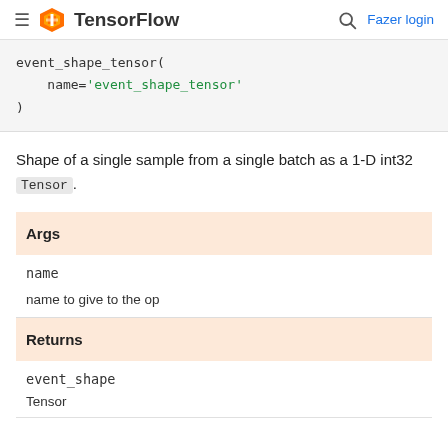TensorFlow — Fazer login
event_shape_tensor(
    name='event_shape_tensor'
)
Shape of a single sample from a single batch as a 1-D int32 Tensor.
| Args |
| --- |
| name |
| name to give to the op |
| Returns |
| --- |
| event_shape |
| Tensor |